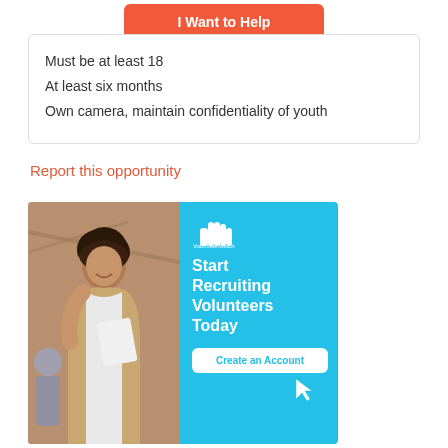I Want to Help
Must be at least 18
At least six months
Own camera, maintain confidentiality of youth
Report this opportunity
[Figure (infographic): Advertisement banner showing a smiling woman holding a laptop on the left (photo), and on the right a cyan/blue panel with VolunteerMatch logo, text 'Start Recruiting Volunteers Today', and a 'Create an Account' button with cursor icon.]